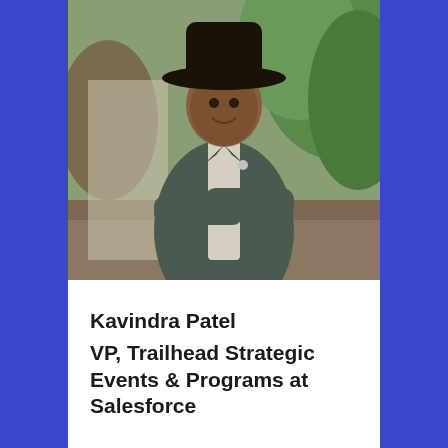[Figure (photo): Portrait photo of Kavindra Patel, a man wearing a black cowboy hat and dark olive/green jacket with arms crossed, smiling, with green foliage in the background]
Kavindra Patel VP, Trailhead Strategic Events & Programs at Salesforce